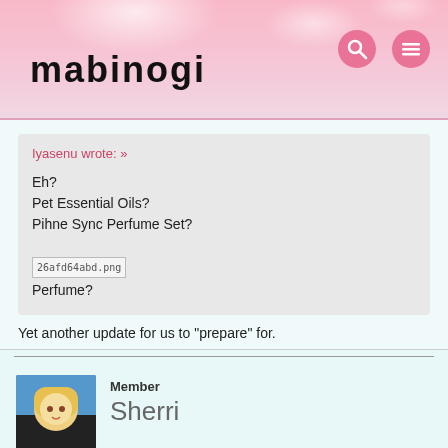mabinogi
Iyasenu wrote: »
Eh?
Pet Essential Oils?
Pihne Sync Perfume Set?
[26afd64abd.png]
Perfume?
Yet another update for us to "prepare" for.
[Figure (illustration): Two anime-style game character avatars side by side]
Member
Sherri